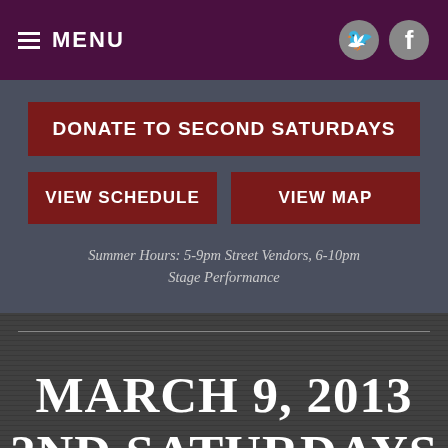≡ MENU
DONATE TO SECOND SATURDAYS
VIEW SCHEDULE
VIEW MAP
Summer Hours: 5-9pm Street Vendors, 6-10pm Stage Performance
MARCH 9, 2013
2ND SATURDAYS